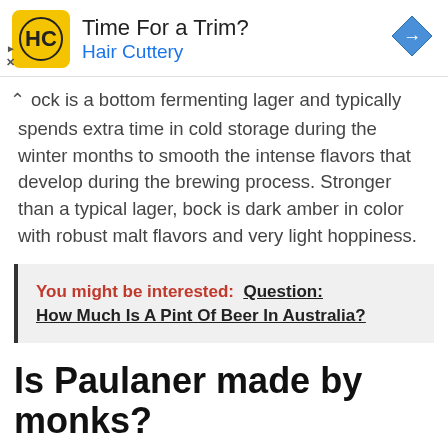[Figure (other): Hair Cuttery advertisement banner with yellow logo, 'Time For a Trim?' headline, 'Hair Cuttery' subtext in blue, and a blue diamond navigation arrow icon on the right.]
ock is a bottom fermenting lager and typically spends extra time in cold storage during the winter months to smooth the intense flavors that develop during the brewing process. Stronger than a typical lager, bock is dark amber in color with robust malt flavors and very light hoppiness.
You might be interested: Question: How Much Is A Pint Of Beer In Australia?
Is Paulaner made by monks?